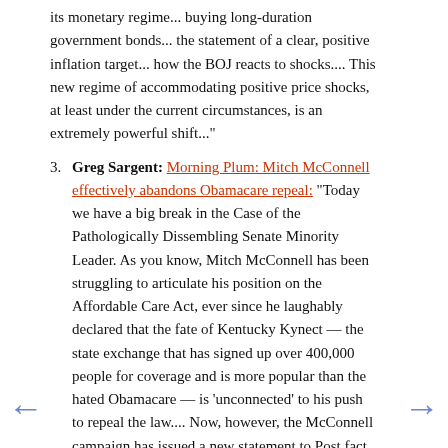its monetary regime... buying long-duration government bonds... the statement of a clear, positive inflation target... how the BOJ reacts to shocks.... This new regime of accommodating positive price shocks, at least under the current circumstances, is an extremely powerful shift..."
3. Greg Sargent: Morning Plum: Mitch McConnell effectively abandons Obamacare repeal: "Today we have a big break in the Case of the Pathologically Dissembling Senate Minority Leader. As you know, Mitch McConnell has been struggling to articulate his position on the Affordable Care Act, ever since he laughably declared that the fate of Kentucky Kynect — the state exchange that has signed up over 400,000 people for coverage and is more popular than the hated Obamacare — is 'unconnected' to his push to repeal the law.... Now, however, the McConnell campaign has issued a new statement to Post fact checker Glenn Kessler that... suggests he might largely retain the Medicaid expansion.... 'Medicaid existed before Obamacare and will exist if we are able to repeal it. Obamacare loosened eligibility requirements for Medicaid recipients, and in the process, helped find many who were already eligible but no enrolled.  These people would remain eligible even after a repeal. The federal government does allow states flexibility in setting requirements and Kentucky could be able to keep many of the newly enrolled in the program if we decided to'. Well, there